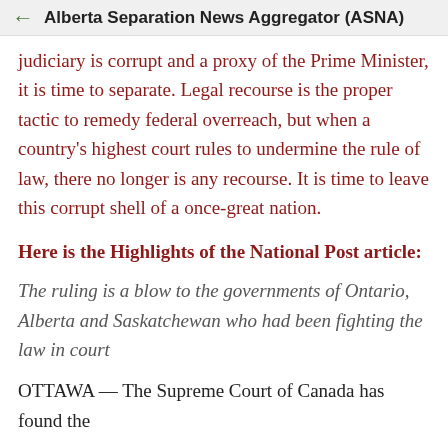← Alberta Separation News Aggregator (ASNA)
judiciary is corrupt and a proxy of the Prime Minister, it is time to separate. Legal recourse is the proper tactic to remedy federal overreach, but when a country's highest court rules to undermine the rule of law, there no longer is any recourse. It is time to leave this corrupt shell of a once-great nation.
Here is the Highlights of the National Post article:
The ruling is a blow to the governments of Ontario, Alberta and Saskatchewan who had been fighting the law in court
OTTAWA — The Supreme Court of Canada has found the